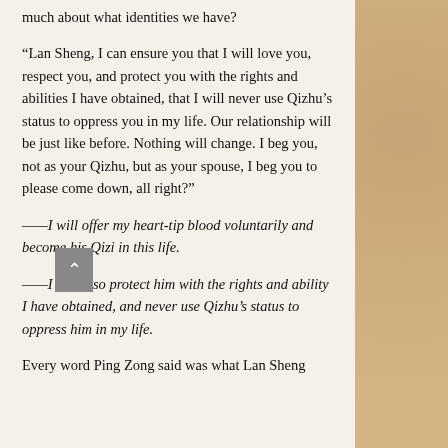much about what identities we have?
“Lan Sheng, I can ensure you that I will love you, respect you, and protect you with the rights and abilities I have obtained, that I will never use Qizhu’s status to oppress you in my life. Our relationship will be just like before. Nothing will change. I beg you, not as your Qizhu, but as your spouse, I beg you to please come down, all right?”
——I will offer my heart-tip blood voluntarily and become his Qizi in this life.
——I will also protect him with the rights and ability I have obtained, and never use Qizhu’s status to oppress him in my life.
Every word Ping Zong said was what Lan Sheng had waiting to hear in the past. The one she…